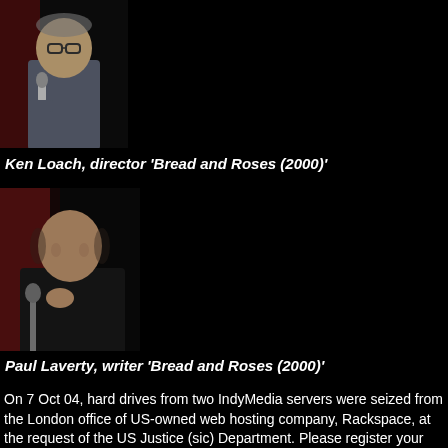[Figure (photo): Ken Loach speaking into a microphone on stage with red curtain background]
Ken Loach, director 'Bread and Roses (2000)'
[Figure (photo): Paul Laverty speaking into a microphone on stage with red curtain background]
Paul Laverty, writer 'Bread and Roses (2000)'
On 7 Oct 04, hard drives from two IndyMedia servers were seized from the London office of US-owned web hosting company, Rackspace, at the request of the US Justice (sic) Department. Please register your support for free speech